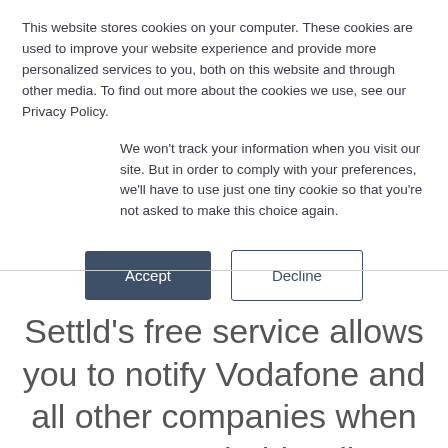This website stores cookies on your computer. These cookies are used to improve your website experience and provide more personalized services to you, both on this website and through other media. To find out more about the cookies we use, see our Privacy Policy.
We won't track your information when you visit our site. But in order to comply with your preferences, we'll have to use just one tiny cookie so that you're not asked to make this choice again.
Accept | Decline
Settld's free service allows you to notify Vodafone and all other companies when an account holder dies, using just one form. Using Settld means you no longer have to make